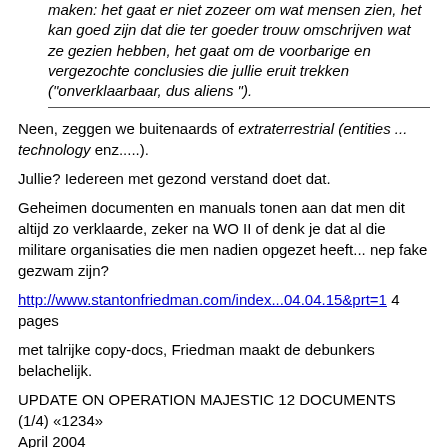maken: het gaat er niet zozeer om wat mensen zien, het kan goed zijn dat die ter goeder trouw omschrijven wat ze gezien hebben, het gaat om de voorbarige en vergezochte conclusies die jullie eruit trekken ("onverklaarbaar, dus aliens ").
Neen, zeggen we buitenaards of extraterrestrial (entities ... technology enz.....).
Jullie? Iedereen met gezond verstand doet dat.
Geheimen documenten en manuals tonen aan dat men dit altijd zo verklaarde, zeker na WO II of denk je dat al die militare organisaties die men nadien opgezet heeft... nep fake gezwam zijn?
http://www.stantonfriedman.com/index...04.04.15&prt=1 4 pages
met talrijke copy-docs, Friedman maakt de debunkers belachelijk.
UPDATE ON OPERATION MAJESTIC 12 DOCUMENTS (1/4) «1234»
April 2004
By Stanton T. Friedman
BACKGROUND
It should be no surprise that the various highly classified Operation Majestic 12 or Majic-12 or MJ-12 documents have been attacked since their existence was first made public. Equally unsurprising is the